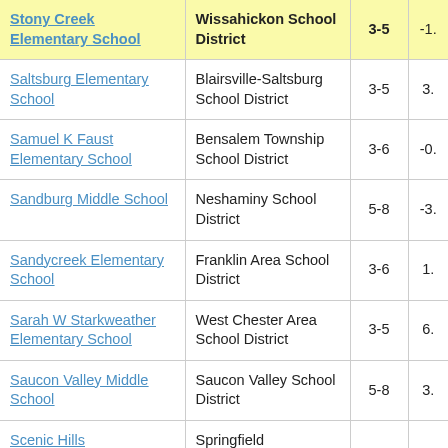| School | District | Grades | Score |
| --- | --- | --- | --- |
| Stony Creek Elementary School | Wissahickon School District | 3-5 | -1. |
| Saltsburg Elementary School | Blairsville-Saltsburg School District | 3-5 | 3. |
| Samuel K Faust Elementary School | Bensalem Township School District | 3-6 | -0. |
| Sandburg Middle School | Neshaminy School District | 5-8 | -3. |
| Sandycreek Elementary School | Franklin Area School District | 3-6 | 1. |
| Sarah W Starkweather Elementary School | West Chester Area School District | 3-5 | 6. |
| Saucon Valley Middle School | Saucon Valley School District | 5-8 | 3. |
| Scenic Hills | Springfield |  |  |